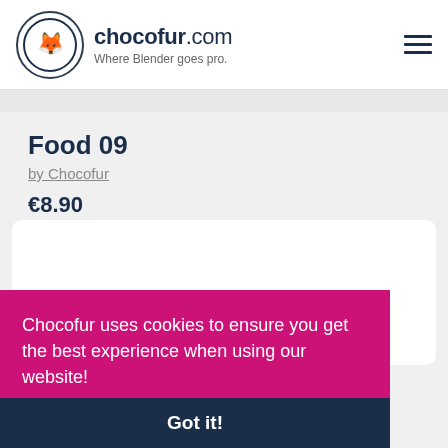chocofur.com — Where Blender goes pro.
Food 09
by Chocofur
€8.90
[Figure (other): White card placeholder area]
Chocofur uses cookies to ensure you get the best experience when using our website!
Check our Privacy Policy!
Got it!